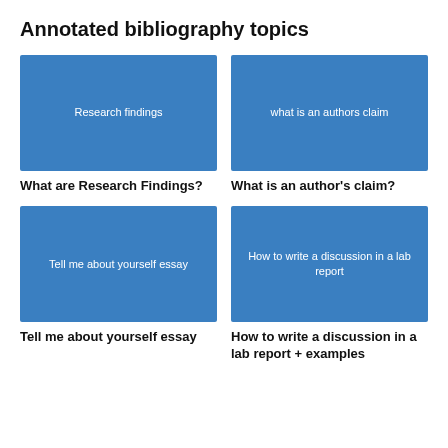Annotated bibliography topics
[Figure (illustration): Blue rectangular card with white text: Research findings]
[Figure (illustration): Blue rectangular card with white text: what is an authors claim]
What are Research Findings?
What is an author's claim?
[Figure (illustration): Blue rectangular card with white text: Tell me about yourself essay]
[Figure (illustration): Blue rectangular card with white text: How to write a discussion in a lab report]
Tell me about yourself essay
How to write a discussion in a lab report + examples